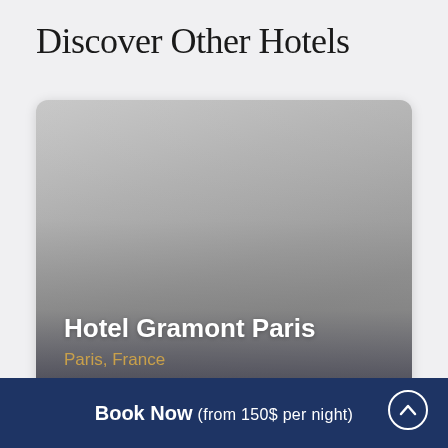Discover Other Hotels
[Figure (photo): Hotel card showing Hotel Gramont Paris with a gradient gray placeholder image, hotel name in white bold text, and location 'Paris, France' in gold text]
Book Now (from 150$ per night)